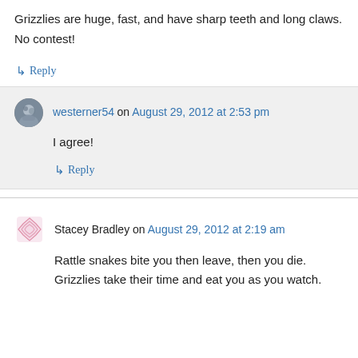Grizzlies are huge, fast, and have sharp teeth and long claws. No contest!
↳ Reply
westerner54 on August 29, 2012 at 2:53 pm
I agree!
↳ Reply
Stacey Bradley on August 29, 2012 at 2:19 am
Rattle snakes bite you then leave, then you die. Grizzlies take their time and eat you as you watch.